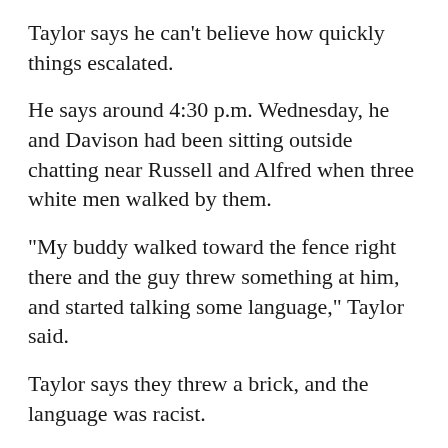Taylor says he can't believe how quickly things escalated.
He says around 4:30 p.m. Wednesday, he and Davison had been sitting outside chatting near Russell and Alfred when three white men walked by them.
"My buddy walked toward the fence right there and the guy threw something at him, and started talking some language," Taylor said.
Taylor says they threw a brick, and the language was racist.
He says the men kept swearing and calling Davison the N-word. Davison became upset, and began to approach the suspects.
"I told him to calm them down but I also told him I...